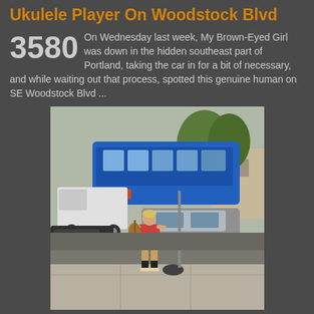Ukulele Player On Woodstock Blvd
3580 On Wednesday last week, My Brown-Eyed Girl was down in the hidden southeast part of Portland, taking the car in for a bit of necessary, and while waiting out that process, spotted this genuine human on SE Woodstock Blvd ...
[Figure (photo): A person standing on a sidewalk playing a ukulele on SE Woodstock Blvd, with a blue city bus, parked cars including a grey sedan, and trees visible in the background.]